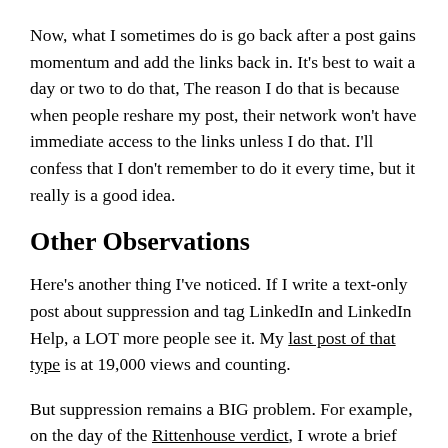Now, what I sometimes do is go back after a post gains momentum and add the links back in. It's best to wait a day or two to do that, The reason I do that is because when people reshare my post, their network won't have immediate access to the links unless I do that. I'll confess that I don't remember to do it every time, but it really is a good idea.
Other Observations
Here's another thing I've noticed. If I write a text-only post about suppression and tag LinkedIn and LinkedIn Help, a LOT more people see it. My last post of that type is at 19,000 views and counting.
But suppression remains a BIG problem. For example, on the day of the Rittenhouse verdict, I wrote a brief